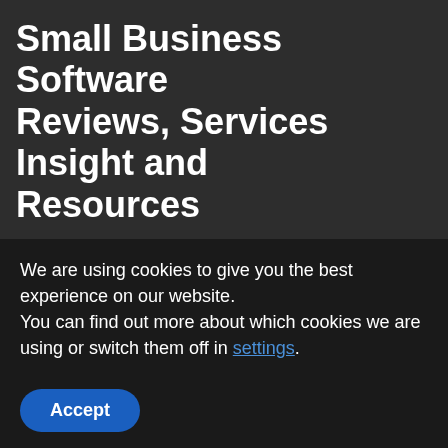Small Business Software Reviews, Services Insight and Resources
Best Small Business Software Reviews, Services a steady flow of information, insight and inspiration for small business owners and operators: 2016, 2017, 2018, 2019, 2020.
| Software | Blog | Reviews | Tools | Services |
| Guest Post | Press Release | Contact | Privacy Policy |  |
| Authors | Sitemap |  |  |  |
Top 10 Cost Estimating
We are using cookies to give you the best experience on our website.
You can find out more about which cookies we are using or switch them off in settings.
Accept